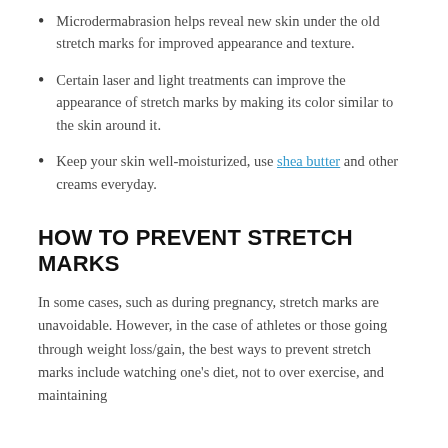Microdermabrasion helps reveal new skin under the old stretch marks for improved appearance and texture.
Certain laser and light treatments can improve the appearance of stretch marks by making its color similar to the skin around it.
Keep your skin well-moisturized, use shea butter and other creams everyday.
HOW TO PREVENT STRETCH MARKS
In some cases, such as during pregnancy, stretch marks are unavoidable. However, in the case of athletes or those going through weight loss/gain, the best ways to prevent stretch marks include watching one’s diet, not to over exercise, and maintaining